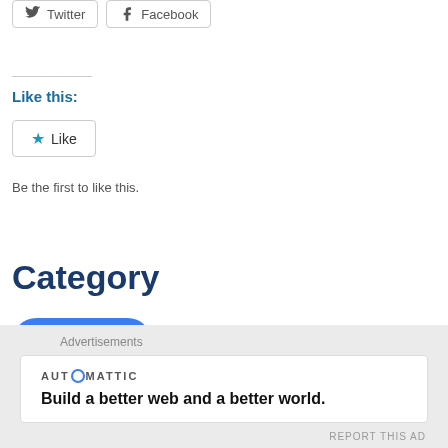[Figure (other): Twitter and Facebook social share buttons at the top of the page]
Like this:
[Figure (other): Like button with star icon]
Be the first to like this.
Category
Education
Advertisements
AUTOMATTIC
Build a better web and a better world.